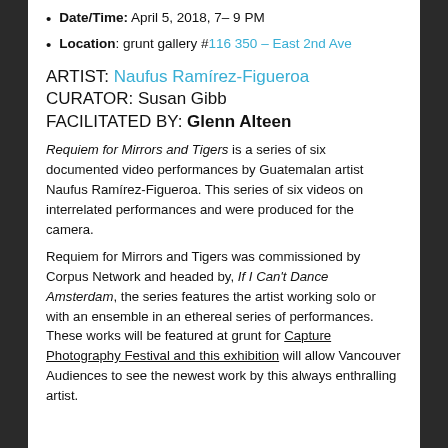Date/Time: April 5, 2018, 7– 9 PM
Location: grunt gallery #116 350 – East 2nd Ave
ARTIST: Naufus Ramírez-Figueroa
CURATOR: Susan Gibb
FACILITATED BY: Glenn Alteen
Requiem for Mirrors and Tigers is a series of six documented video performances by Guatemalan artist Naufus Ramírez-Figueroa. This series of six videos on interrelated performances and were produced for the camera.
Requiem for Mirrors and Tigers was commissioned by Corpus Network and headed by, If I Can't Dance Amsterdam, the series features the artist working solo or with an ensemble in an ethereal series of performances. These works will be featured at grunt for Capture Photography Festival and this exhibition will allow Vancouver Audiences to see the newest work by this always enthralling artist.